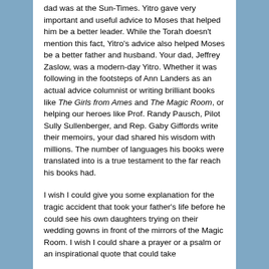dad was at the Sun-Times. Yitro gave very important and useful advice to Moses that helped him be a better leader. While the Torah doesn't mention this fact, Yitro's advice also helped Moses be a better father and husband. Your dad, Jeffrey Zaslow, was a modern-day Yitro. Whether it was following in the footsteps of Ann Landers as an actual advice columnist or writing brilliant books like The Girls from Ames and The Magic Room, or helping our heroes like Prof. Randy Pausch, Pilot Sully Sullenberger, and Rep. Gaby Giffords write their memoirs, your dad shared his wisdom with millions. The number of languages his books were translated into is a true testament to the far reach his books had.
I wish I could give you some explanation for the tragic accident that took your father's life before he could see his own daughters trying on their wedding gowns in front of the mirrors of the Magic Room. I wish I could share a prayer or a psalm or an inspirational quote that could take